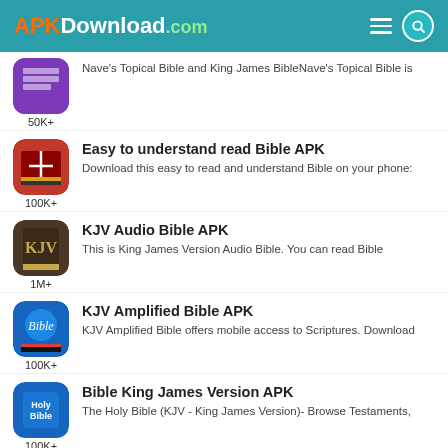APKDownload.com
Nave's Topical Bible and King James BibleNave's Topical Bible is
50K+
Easy to understand read Bible APK
Download this easy to read and understand Bible on your phone:
100K+
KJV Audio Bible APK
This is King James Version Audio Bible. You can read Bible
1M+
KJV Amplified Bible APK
KJV Amplified Bible offers mobile access to Scriptures. Download
100K+
Bible King James Version APK
The Holy Bible (KJV - King James Version)- Browse Testaments,
100K+
Audio Bible KJV app APK
Enjoy listening mp3 audio bibles free in english. This King James